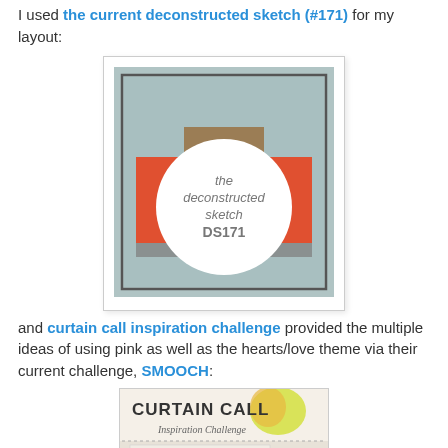I used the current deconstructed sketch (#171) for my layout:
[Figure (illustration): The Deconstructed Sketch DS171 logo/card: a card layout diagram with grey-blue background, orange horizontal band, taupe/brown rectangles layered, and a white circle in the center with text 'the deconstructed sketch DS171' in grey.]
and curtain call inspiration challenge provided the multiple ideas of using pink as well as the hearts/love theme via their current challenge, SMOOCH:
[Figure (illustration): Curtain Call Inspiration Challenge logo: shows 'CURTAIN CALL' text with colorful watercolor/paint splash, subtitle 'Inspiration Challenge' in script, and a neutral/cream colored card sample below.]